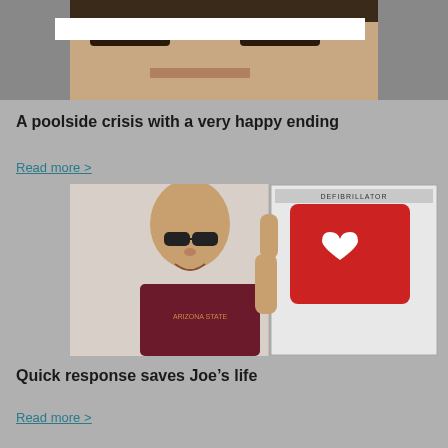[Figure (photo): Cropped photo of a person's face with a white redaction bar across the eyes]
A poolside crisis with a very happy ending
Read more >
[Figure (photo): Man wearing sunglasses and a maroon Arizona State University shirt standing next to an open defibrillator cabinet with a red AED device inside]
Quick response saves Joe’s life
Read more >